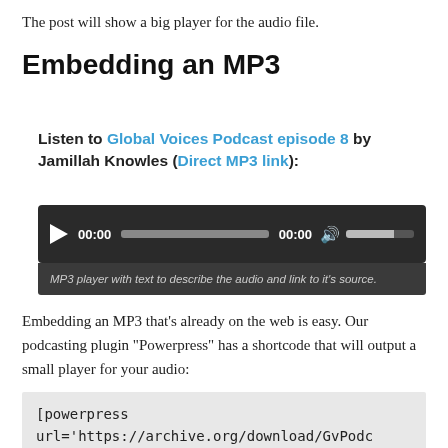The post will show a big player for the audio file.
Embedding an MP3
Listen to Global Voices Podcast episode 8 by Jamillah Knowles (Direct MP3 link):
[Figure (other): Audio MP3 player UI with play button, time display showing 00:00, progress bar, time counter 00:00, volume icon and volume slider on dark background]
MP3 player with text to describe the audio and link to it's source.
Embedding an MP3 that’s already on the web is easy. Our podcasting plugin “Powerpress” has a shortcode that will output a small player for your audio:
[powerpress url='https://archive.org/download/GvPodc